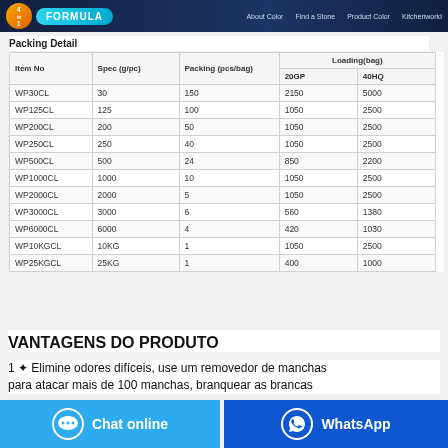4 in 1 FORMULA — navigation links
Packing Detail
| Item No | Spec (g/pc) | Packing (pcs/bag) | Loading(bag) 20GP | Loading(bag) 40HQ |
| --- | --- | --- | --- | --- |
| WP30CL | 30 | 150 | 2150 | 5000 |
| WP125CL | 125 | 100 | 1050 | 2500 |
| WP200CL | 200 | 50 | 1050 | 2500 |
| WP250CL | 250 | 40 | 1050 | 2500 |
| WP500CL | 500 | 24 | 850 | 2200 |
| WP1000CL | 1000 | 10 | 1050 | 2500 |
| WP2000CL | 2000 | 5 | 1050 | 2500 |
| WP3000CL | 3000 | 6 | 560 | 1380 |
| WP6000CL | 6000 | 4 | 420 | 1030 |
| WP10KGCL | 10KG | 1 | 1050 | 2500 |
| WP25KGCL | 25KG | 1 | 400 | 1000 |
VANTAGENS DO PRODUTO
1 ✦ Elimine odores difíceis, use um removedor de manchas para atacar mais de 100 manchas, branquear as brancas...
Chat online
WhatsApp